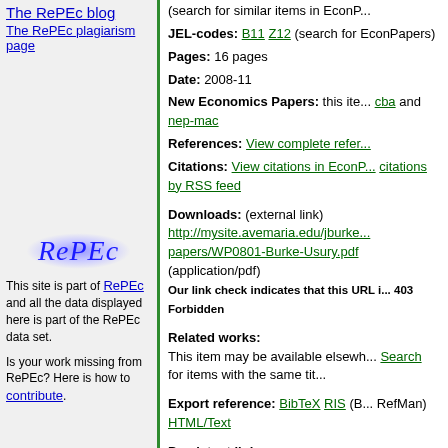The RePEc blog
The RePEc plagiarism page
[Figure (logo): RePEc logo with blue glow effect, italic serif font]
This site is part of RePEc and all the data displayed here is part of the RePEc data set.
Is your work missing from RePEc? Here is how to contribute.
(search for similar items in EconP...
JEL-codes: B11 Z12 (search for EconPapers)
Pages: 16 pages
Date: 2008-11
New Economics Papers: this item ... cba and nep-mac
References: View complete refer...
Citations: View citations in EconP... citations by RSS feed
Downloads: (external link) http://mysite.avemaria.edu/jburke.../papers/WP0801-Burke-Usury.pdf (application/pdf)
Our link check indicates that this URL is 403 Forbidden
Related works: This item may be available elsewh... Search for items with the same tit...
Export reference: BibTeX RIS (B... RefMan) HTML/Text
Persistent link: https://EconPapers.repec.org/ReP...
Access Statistics for this paper